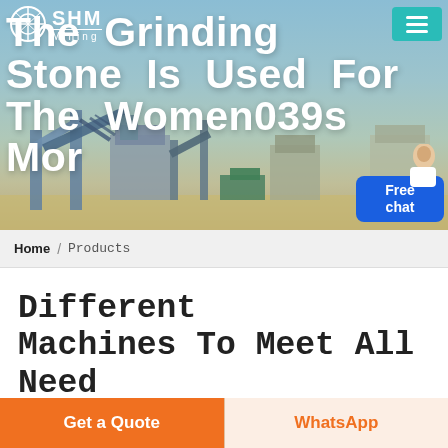[Figure (screenshot): Hero banner showing a mining facility with conveyor belts and industrial machinery in the background. White bold text overlay reads 'The Grinding Stone Is Used For The Women039s Mor'. Navigation bar with SHM Mining logo and teal hamburger menu button at top. Blue 'Free chat' button with customer service representative icon at bottom right.]
SHM Mining
The Grinding Stone Is Used For The Women039s Mor
Home / Products
Different Machines To Meet All Need
Get a Quote
WhatsApp